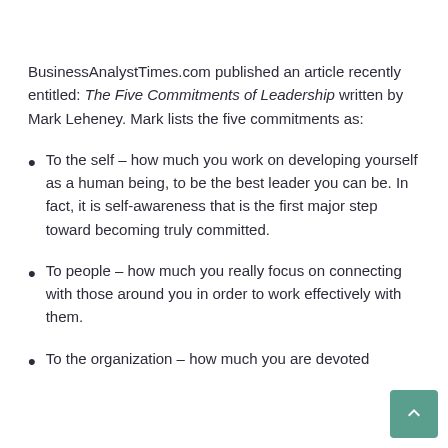BusinessAnalystTimes.com published an article recently entitled: The Five Commitments of Leadership written by Mark Leheney. Mark lists the five commitments as:
To the self – how much you work on developing yourself as a human being, to be the best leader you can be. In fact, it is self-awareness that is the first major step toward becoming truly committed.
To people – how much you really focus on connecting with those around you in order to work effectively with them.
To the organization – how much you are devoted